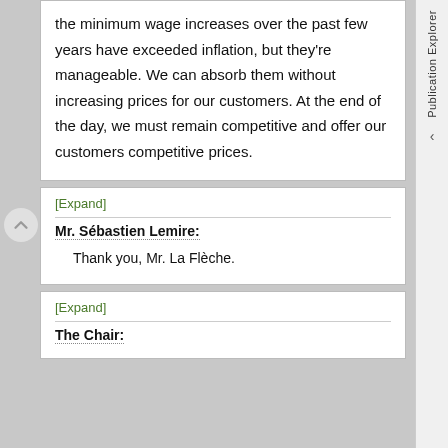the minimum wage increases over the past few years have exceeded inflation, but they're manageable. We can absorb them without increasing prices for our customers. At the end of the day, we must remain competitive and offer our customers competitive prices.
[Expand]
Mr. Sébastien Lemire:
Thank you, Mr. La Flèche.
[Expand]
The Chair: